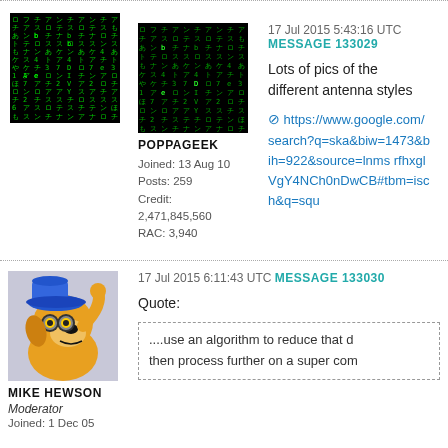[Figure (illustration): Matrix-style green code falling on black background - user avatar for POPPAGEEK]
POPPAGEEK
Joined: 13 Aug 10
Posts: 259
Credit:
2,471,845,560
RAC: 3,940
17 Jul 2015 5:43:16 UTC MESSAGE 133029
Lots of pics of the different antenna styles
https://www.google.com/search?q=ska&biw=1473&bih=922&source=lnms rfhxglVgY4NCh0nDwCB#tbm=isch&q=squ
[Figure (illustration): Cartoon dog character wearing a blue hat, scratching head - user avatar for MIKE HEWSON]
MIKE HEWSON
Moderator
Joined: 1 Dec 05
17 Jul 2015 6:11:43 UTC MESSAGE 133030
Quote:
....use an algorithm to reduce that d then process further on a super com